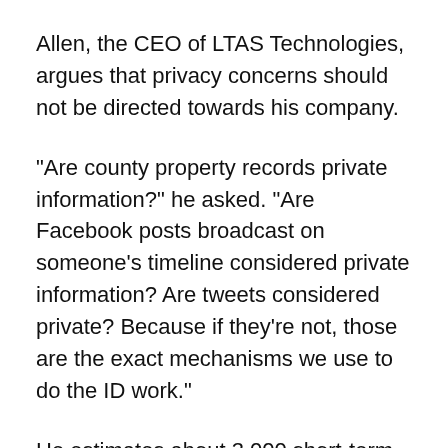Allen, the CEO of LTAS Technologies, argues that privacy concerns should not be directed towards his company.
“Are county property records private information?” he asked. “Are Facebook posts broadcast on someone’s timeline considered private information? Are tweets considered private? Because if they’re not, those are the exact mechanisms we use to do the ID work.”
He estimates about 3,000 short-term listings, including timeshares, in the Charleston area. Twenty-three percent of that inventory is